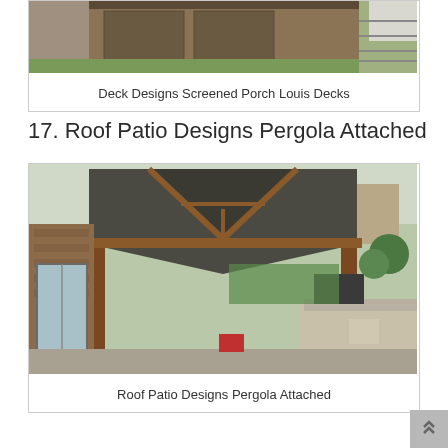[Figure (photo): Photo of a screened porch deck with brown trim and green lawn visible, partial view at top of page]
Deck Designs Screened Porch Louis Decks
17. Roof Patio Designs Pergola Attached
[Figure (photo): Photo of a attached pergola with gabled wooden roof over a patio area, brick house visible in background with outdoor kitchen/BBQ area]
Roof Patio Designs Pergola Attached